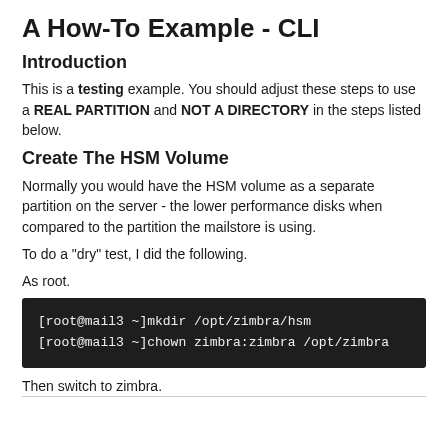A How-To Example - CLI
Introduction
This is a testing example. You should adjust these steps to use a REAL PARTITION and NOT A DIRECTORY in the steps listed below.
Create The HSM Volume
Normally you would have the HSM volume as a separate partition on the server - the lower performance disks when compared to the partition the mailstore is using.
To do a "dry" test, I did the following.
As root.
[root@mail3 ~]mkdir /opt/zimbra/hsm
[root@mail3 ~]chown zimbra:zimbra /opt/zimbra
Then switch to zimbra.